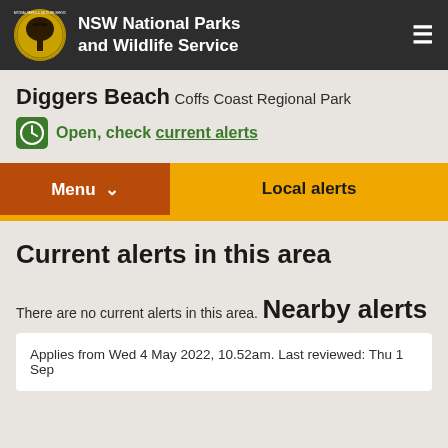NSW National Parks and Wildlife Service
Diggers Beach
Coffs Coast Regional Park
Open, check current alerts
Current alerts in this area
There are no current alerts in this area.
Nearby alerts
Applies from Wed 4 May 2022, 10.52am. Last reviewed: Thu 1 Sep